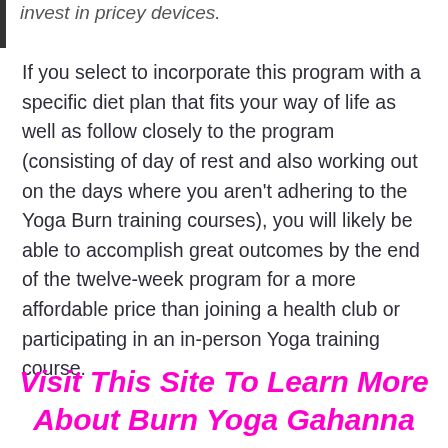invest in pricey devices.
If you select to incorporate this program with a specific diet plan that fits your way of life as well as follow closely to the program (consisting of day of rest and also working out on the days where you aren't adhering to the Yoga Burn training courses), you will likely be able to accomplish great outcomes by the end of the twelve-week program for a more affordable price than joining a health club or participating in an in-person Yoga training course.
Visit This Site To Learn More About Burn Yoga Gahanna